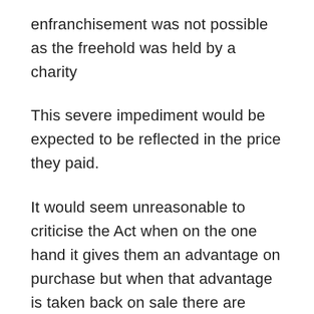enfranchisement was not possible as the freehold was held by a charity
This severe impediment would be expected to be reflected in the price they paid.
It would seem unreasonable to criticise the Act when on the one hand it gives them an advantage on purchase but when that advantage is taken back on sale there are cries of foul